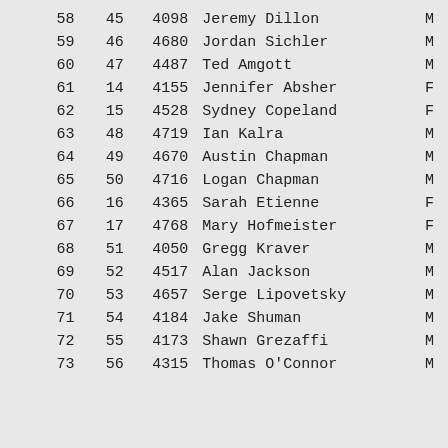| Rank | Sub | Bib | Name | Gender |
| --- | --- | --- | --- | --- |
| 58 | 45 | 4098 | Jeremy Dillon | M |
| 59 | 46 | 4680 | Jordan Sichler | M |
| 60 | 47 | 4487 | Ted Amgott | M |
| 61 | 14 | 4155 | Jennifer Absher | F |
| 62 | 15 | 4528 | Sydney Copeland | F |
| 63 | 48 | 4719 | Ian Kalra | M |
| 64 | 49 | 4670 | Austin Chapman | M |
| 65 | 50 | 4716 | Logan Chapman | M |
| 66 | 16 | 4365 | Sarah Etienne | F |
| 67 | 17 | 4768 | Mary Hofmeister | F |
| 68 | 51 | 4050 | Gregg Kraver | M |
| 69 | 52 | 4517 | Alan Jackson | M |
| 70 | 53 | 4657 | Serge Lipovetsky | M |
| 71 | 54 | 4184 | Jake Shuman | M |
| 72 | 55 | 4173 | Shawn Grezaffi | M |
| 73 | 56 | 4315 | Thomas O'Connor | M |